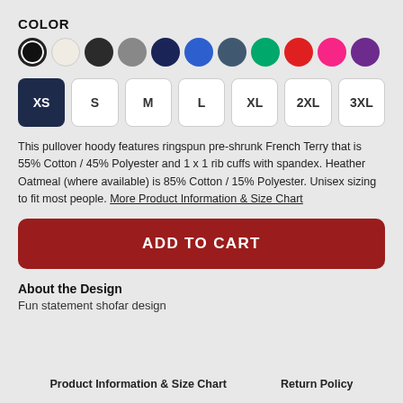COLOR
[Figure (illustration): Row of 11 color swatches: black (selected), cream/oatmeal, graphite, gray, navy, blue, slate/dark blue-gray, green, red, pink/hot pink, purple]
[Figure (illustration): Size selector buttons: XS (selected/navy), S, M, L, XL, 2XL, 3XL]
This pullover hoody features ringspun pre-shrunk French Terry that is 55% Cotton / 45% Polyester and 1 x 1 rib cuffs with spandex. Heather Oatmeal (where available) is 85% Cotton / 15% Polyester. Unisex sizing to fit most people. More Product Information & Size Chart
ADD TO CART
About the Design
Fun statement shofar design
Product Information & Size Chart    Return Policy